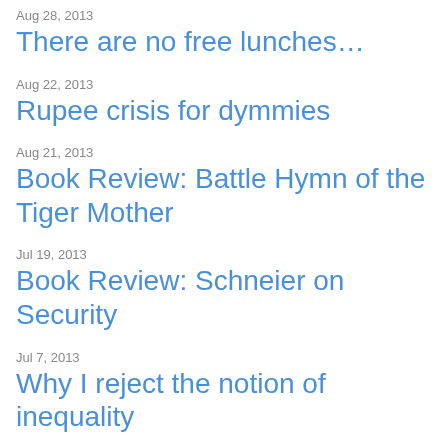Aug 28, 2013
There are no free lunches…
Aug 22, 2013
Rupee crisis for dymmies
Aug 21, 2013
Book Review: Battle Hymn of the Tiger Mother
Jul 19, 2013
Book Review: Schneier on Security
Jul 7, 2013
Why I reject the notion of inequality